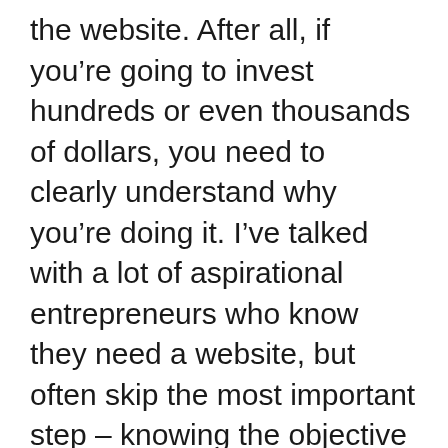the website. After all, if you're going to invest hundreds or even thousands of dollars, you need to clearly understand why you're doing it. I've talked with a lot of aspirational entrepreneurs who know they need a website, but often skip the most important step – knowing the objective behind it.
[Figure (illustration): Small green cartoon mascot/character icon with eyes and a smile, resembling a star or creature shape]
There can be any number of objectives that you have when building a website. For instance, if